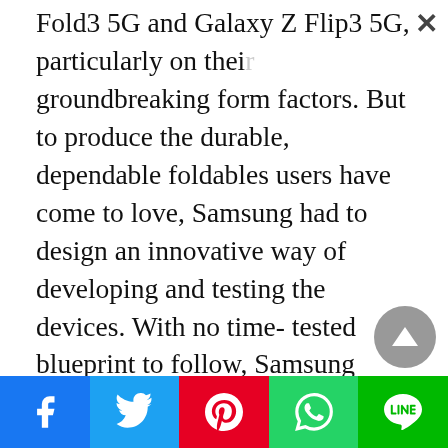Fold3 5G and Galaxy Z Flip3 5G, particularly on their groundbreaking form factors. But to produce the durable, dependable foldables users have come to love, Samsung had to design an innovative way of developing and testing the devices. With no time-tested blueprint to follow, Samsung spent years conducting thousands of trials, relying on diverse perspectives and developing a fresh new approach. As a result, Samsung has been able to develop all-new materials like Armor Aluminum, and optimize existing components on the hinge of the display...